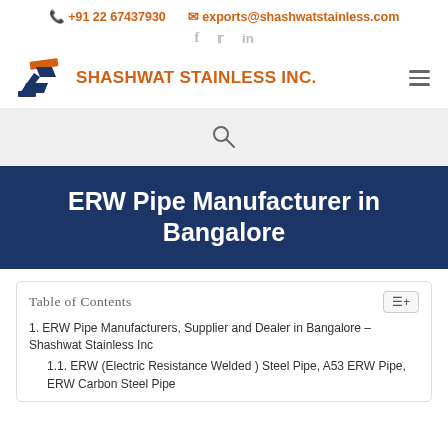📞 +91 22 67437930   ✉ exports@shashwatstainless.com
[Figure (logo): Shashwat Stainless Inc. logo with stylized S shape in navy blue and orange, with company name in orange bold text]
[Figure (other): Search bar with magnifying glass icon on light gray background]
ERW Pipe Manufacturer in Bangalore
Table of Contents
1. ERW Pipe Manufacturers, Supplier and Dealer in Bangalore – Shashwat Stainless Inc
1.1. ERW (Electric Resistance Welded ) Steel Pipe, A53 ERW Pipe, ERW Carbon Steel Pipe